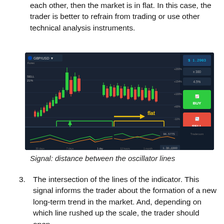each other, then the market is in flat. In this case, the trader is better to refrain from trading or use other technical analysis instruments.
[Figure (screenshot): GBP/USD candlestick trading chart on a dark background, showing a strong uptrend followed by a flat period. The uptrend section is highlighted with a green rectangle and labeled 'a strong uptrend' with a green arrow. The flat section is highlighted with a yellow rectangle and labeled 'flat' with a yellow arrow. Below the main chart is an oscillator panel with two colored lines. Buy and Sell buttons visible on the right side.]
Signal: distance between the oscillator lines
3. The intersection of the lines of the indicator. This signal informs the trader about the formation of a new long-term trend in the market. And, depending on which line rushed up the scale, the trader should open